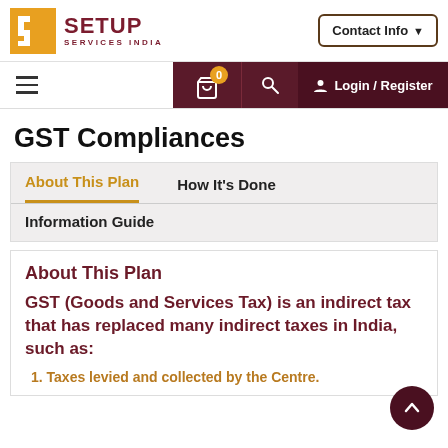[Figure (logo): Setup Services India logo with gold S-shaped icon and dark red SETUP SERVICES INDIA text]
Contact Info ▾
☰  0  🛒  🔍  Login / Register
GST Compliances
About This Plan
How It's Done
Information Guide
About This Plan
GST (Goods and Services Tax) is an indirect tax that has replaced many indirect taxes in India, such as:
1. Taxes levied and collected by the Centre.